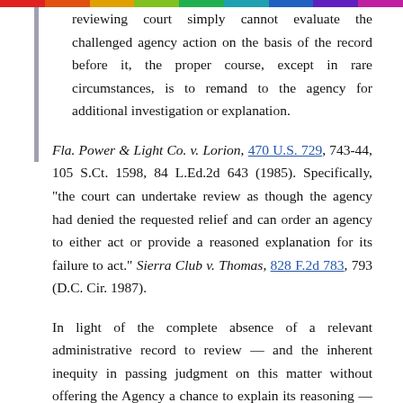reviewing court simply cannot evaluate the challenged agency action on the basis of the record before it, the proper course, except in rare circumstances, is to remand to the agency for additional investigation or explanation.
Fla. Power & Light Co. v. Lorion, 470 U.S. 729, 743-44, 105 S.Ct. 1598, 84 L.Ed.2d 643 (1985). Specifically, "the court can undertake review as though the agency had denied the requested relief and can order an agency to either act or provide a reasoned explanation for its failure to act." Sierra Club v. Thomas, 828 F.2d 783, 793 (D.C. Cir. 1987).
In light of the complete absence of a relevant administrative record to review — and the inherent inequity in passing judgment on this matter without offering the Agency a chance to explain its reasoning — any analysis of the FAA's denial would be imprudent. Accordingly, we